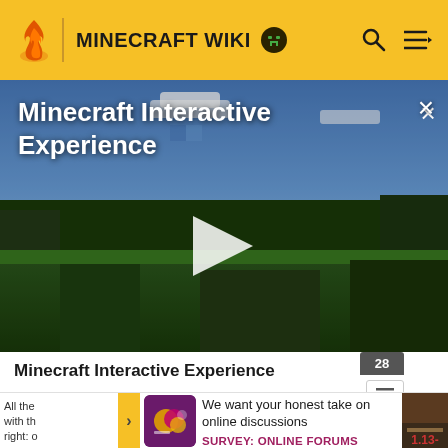MINECRAFT WIKI
[Figure (screenshot): Minecraft game scene video player with grassy landscape and blue sky, showing a play button in the center and title overlay 'Minecraft Interactive Experience']
Minecraft Interactive Experience
All tho... with th... right: o...
[Figure (illustration): Survey promotion image with colorful graphic icon]
We want your honest take on online discussions
SURVEY: ONLINE FORUMS
1.13-